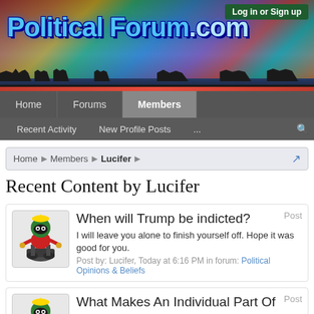[Figure (screenshot): PoliticalForum.com website header banner with flags background, silhouettes of people, blue logo text, and green 'Log in or Sign up' button]
Log in or Sign up
Home | Forums | Members | Recent Activity | New Profile Posts | ...
Home > Members > Lucifer
Recent Content by Lucifer
When will Trump be indicted? Post
I will leave you alone to finish yourself off. Hope it was good for you.
Post by: Lucifer, Today at 6:16 PM in forum: Political Opinions & Beliefs
What Makes An Individual Part Of The Elite? Post
Wow! That's truly the most cynical view I think I've read around here in a while. Running for office makes you an "elitist". Really? So, no one...
Post by: Lucifer, Today at 6:12 PM in forum: Political Opinions & Beliefs
When will Trump be indicted? (partial, cut off)